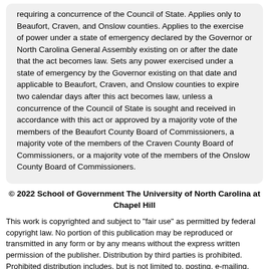requiring a concurrence of the Council of State. Applies only to Beaufort, Craven, and Onslow counties. Applies to the exercise of power under a state of emergency declared by the Governor or North Carolina General Assembly existing on or after the date that the act becomes law. Sets any power exercised under a state of emergency by the Governor existing on that date and applicable to Beaufort, Craven, and Onslow counties to expire two calendar days after this act becomes law, unless a concurrence of the Council of State is sought and received in accordance with this act or approved by a majority vote of the members of the Beaufort County Board of Commissioners, a majority vote of the members of the Craven County Board of Commissioners, or a majority vote of the members of the Onslow County Board of Commissioners.
© 2022 School of Government The University of North Carolina at Chapel Hill
This work is copyrighted and subject to "fair use" as permitted by federal copyright law. No portion of this publication may be reproduced or transmitted in any form or by any means without the express written permission of the publisher. Distribution by third parties is prohibited. Prohibited distribution includes, but is not limited to, posting, e-mailing, faxing, archiving in a public database, installing on intranets or servers, and redistributing via a computer network or in printed form. Unauthorized use or reproduction may result in legal